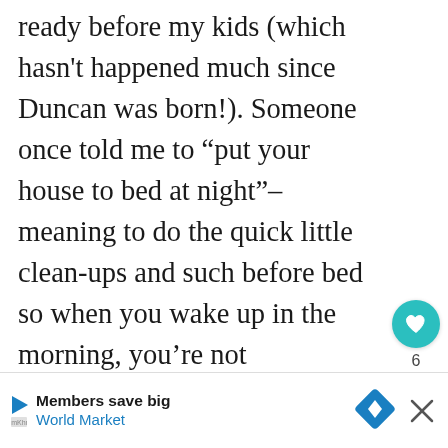ready before my kids (which hasn't happened much since Duncan was born!). Someone once told me to “put your house to bed at night”–meaning to do the quick little clean-ups and such before bed so when you wake up in the morning, you’re not overwhelmed by a messy house. I’m terrible at this (because I’m sleep deprived right now!), but whe— it does make me feel better in the
[Figure (infographic): Heart/like button (teal circle with heart icon), count of 6, and share button (light circle with share icon) on the right sidebar. A 'WHAT'S NEXT' widget showing a thumbnail and text 'Am I doing this MOM...' Also an advertisement banner at the bottom: 'Members save big / World Market' with play icon, navigation diamond icon, and close X button.]